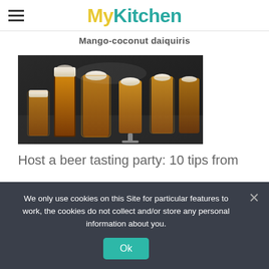MyKitchen
Mango-coconut daiquiris
[Figure (photo): Several glasses of beer in various sizes and styles arranged on a dark surface, photographed from slightly above, with golden beer and foam visible in each glass.]
Host a beer tasting party: 10 tips from
We only use cookies on this Site for particular features to work, the cookies do not collect and/or store any personal information about you.